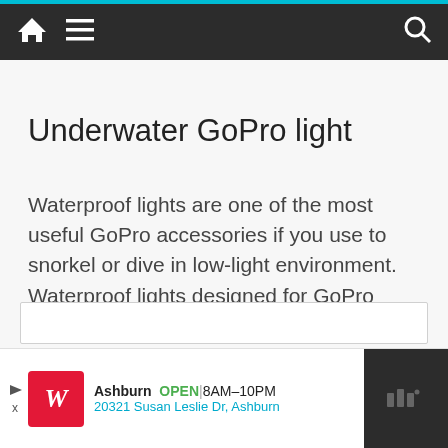Navigation bar with home, menu, and search icons
Underwater GoPro light
Waterproof lights are one of the most useful GoPro accessories if you use to snorkel or dive in low-light environment. Waterproof lights designed for GoPro cameras can be easily attached since they come with the traditional GoPro mounting system.
Ashburn OPEN 8AM–10PM 20321 Susan Leslie Dr, Ashburn